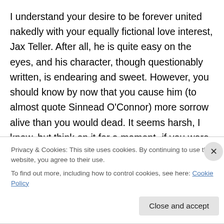I understand your desire to be forever united nakedly with your equally fictional love interest, Jax Teller. After all, he is quite easy on the eyes, and his character, though questionably written, is endearing and sweet. However, you should know by now that you cause him (to almost quote Sinnead O'Connor) more sorrow alive than you would dead. It seems harsh, I know, but think on it for a moment- if you were to meet an untimely death by, say having a runaway van run over your head, the next episode might find Jax seeking comfort in the puss of
Privacy & Cookies: This site uses cookies. By continuing to use this website, you agree to their use.
To find out more, including how to control cookies, see here: Cookie Policy